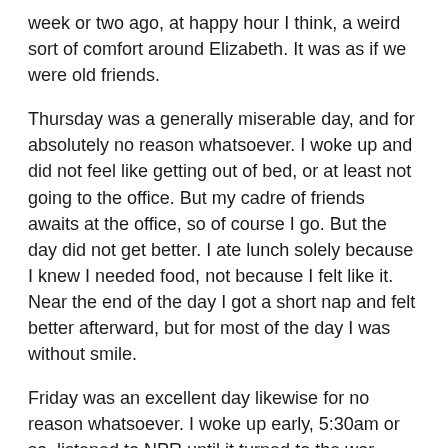week or two ago, at happy hour I think, a weird sort of comfort around Elizabeth. It was as if we were old friends.
Thursday was a generally miserable day, and for absolutely no reason whatsoever. I woke up and did not feel like getting out of bed, or at least not going to the office. But my cadre of friends awaits at the office, so of course I go. But the day did not get better. I ate lunch solely because I knew I needed food, not because I felt like it. Near the end of the day I got a short nap and felt better afterward, but for most of the day I was without smile.
Friday was an excellent day likewise for no reason whatsoever. I woke up early, 5:30am or so, listened to NPR until it turned to the war-mongering and switched to the classical music station. I left for the office early, picked up a copy of the NY Times at the newsstand I pass daily, and had a very cheerful day. At happy hour, Anne was very happy and it was nice to see her happy. I, Kate, Anne and Erin managed to get through happy hour without talking about math or other equally boring stuff as the rest of the table did... Bert and Elizabeth were conspicuously absent, as